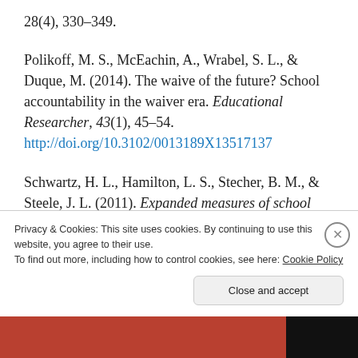28(4), 330–349.
Polikoff, M. S., McEachin, A., Wrabel, S. L., & Duque, M. (2014). The waive of the future? School accountability in the waiver era. Educational Researcher, 43(1), 45–54. http://doi.org/10.3102/0013189X13517137
Schwartz, H. L., Hamilton, L. S., Stecher, B. M., & Steele, J. L. (2011). Expanded measures of school performance. Santa Monica, CA: The RAND Corporation.